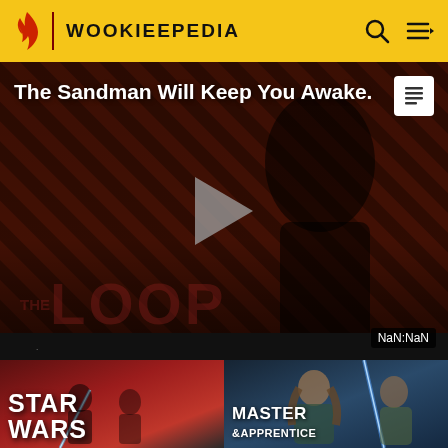WOOKIEEPEDIA
[Figure (screenshot): Wookieepedia website screenshot showing a video player with 'The Sandman Will Keep You Awake' title, a dark figure in black, diagonal red/brown stripe background, THE LOOP watermark, play button overlay, article icon, NaN:NaN timer badge, and two book/media cards below: Star Wars and Master & Apprentice]
The Sandman Will Keep You Awake.
NaN:NaN
STAR WARS
MASTER & APPRENTICE